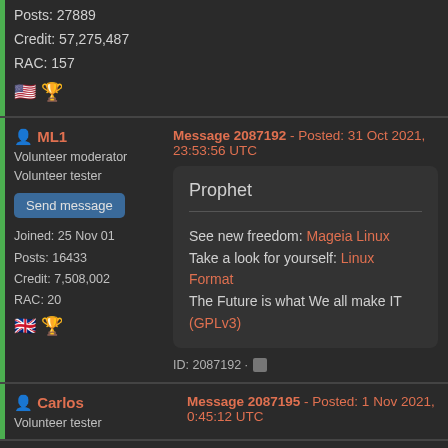Posts: 27889
Credit: 57,275,487
RAC: 157
ML1
Volunteer moderator
Volunteer tester
Send message
Joined: 25 Nov 01
Posts: 16433
Credit: 7,508,002
RAC: 20
Message 2087192 - Posted: 31 Oct 2021, 23:53:56 UTC
Prophet

See new freedom: Mageia Linux
Take a look for yourself: Linux Format
The Future is what We all make IT (GPLv3)
ID: 2087192
Carlos
Volunteer tester
Message 2087195 - Posted: 1 Nov 2021, 0:45:12 UTC